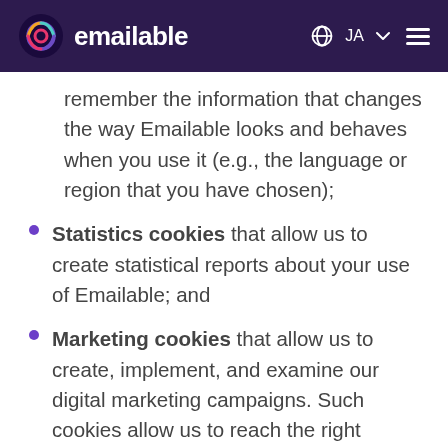emailable JA
remember the information that changes the way Emailable looks and behaves when you use it (e.g., the language or region that you have chosen);
Statistics cookies that allow us to create statistical reports about your use of Emailable; and
Marketing cookies that allow us to create, implement, and examine our digital marketing campaigns. Such cookies allow us to reach the right customers, analyse the productivity of our marketing campaigns, and offer you